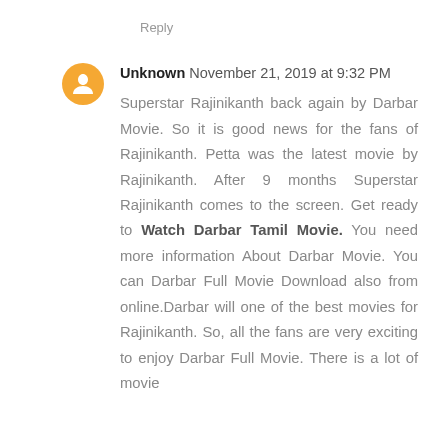Reply
Unknown November 21, 2019 at 9:32 PM
Superstar Rajinikanth back again by Darbar Movie. So it is good news for the fans of Rajinikanth. Petta was the latest movie by Rajinikanth. After 9 months Superstar Rajinikanth comes to the screen. Get ready to Watch Darbar Tamil Movie. You need more information About Darbar Movie. You can Darbar Full Movie Download also from online.Darbar will one of the best movies for Rajinikanth. So, all the fans are very exciting to enjoy Darbar Full Movie. There is a lot of movie